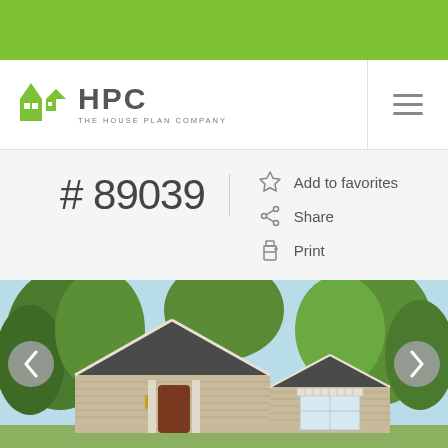[Figure (logo): HPC The House Plan Company logo with green house icon]
# 89039
Add to favorites
Share
Print
[Figure (photo): Exterior rendering of house plan #89039 — single-story cottage style home with dark shingle roof, tan vinyl siding, arched front door, and decorative window with awning, surrounded by trees]